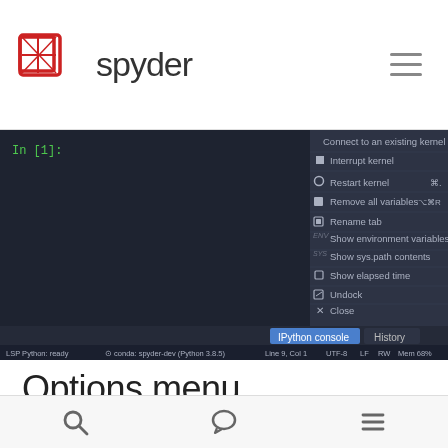Spyder
[Figure (screenshot): Screenshot of Spyder IDE IPython console showing a context menu with options: Connect to an existing kernel, Interrupt kernel, Restart kernel (⌘.), Remove all variables (⌥⌘R), Rename tab, Show environment variables, Show sys.path contents, Show elapsed time, Undock, Close. Bottom status bar shows: LSP Python: ready, conda: spyder-dev (Python 3.8.5), Line 9, Col 1, UTF-8, LF, RW, Mem 68%]
Options menu
The options menu allows you to inspect your current